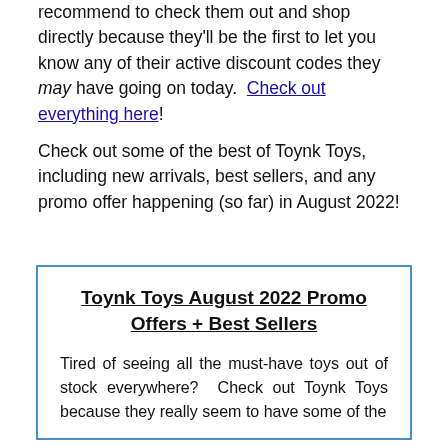recommend to check them out and shop directly because they'll be the first to let you know any of their active discount codes they may have going on today.  Check out everything here!
Check out some of the best of Toynk Toys, including new arrivals, best sellers, and any promo offer happening (so far) in August 2022!
Toynk Toys August 2022 Promo Offers + Best Sellers
Tired of seeing all the must-have toys out of stock everywhere?  Check out Toynk Toys because they really seem to have some of the